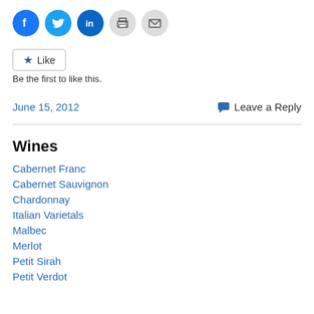[Figure (other): Row of social sharing icon circles: Facebook (blue), Twitter (light blue), LinkedIn (dark blue), Print (gray), Email (gray)]
[Figure (other): Like button widget with star icon and text 'Like']
Be the first to like this.
June 15, 2012
Leave a Reply
Wines
Cabernet Franc
Cabernet Sauvignon
Chardonnay
Italian Varietals
Malbec
Merlot
Petit Sirah
Petit Verdot